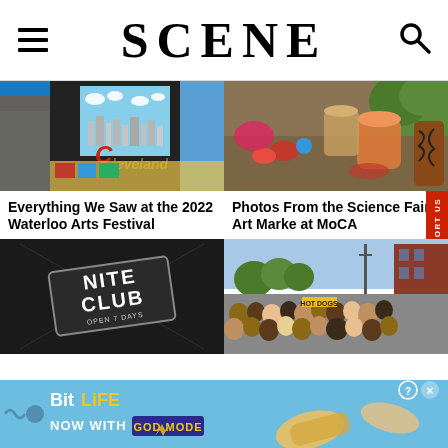SCENE
[Figure (photo): Outdoor art festival booth showing Cleveland-themed paintings and artwork]
Everything We Saw at the 2022 Waterloo Arts Festival
[Figure (photo): Colorful glass art pieces and ceramics displayed at a market table]
Photos From the Science Fair Art Market at MoCA
[Figure (photo): Nite Club logo on dark background - open 7 days]
[Figure (photo): Large outdoor crowd at a street festival with brick buildings in background]
[Figure (screenshot): BitLife advertisement banner - Now with GOD MODE]